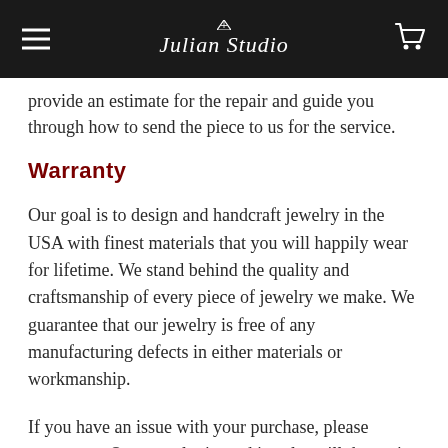Julian Studio
provide an estimate for the repair and guide you through how to send the piece to us for the service.
Warranty
Our goal is to design and handcraft jewelry in the USA with finest materials that you will happily wear for lifetime. We stand behind the quality and craftsmanship of every piece of jewelry we make. We guarantee that our jewelry is free of any manufacturing defects in either materials or workmanship.
If you have an issue with your purchase, please contact us. Our gemologist and jeweler will determine the cause of the damage and if it fall...